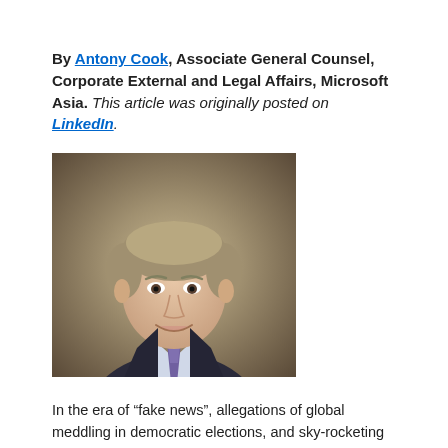By Antony Cook, Associate General Counsel, Corporate External and Legal Affairs, Microsoft Asia. This article was originally posted on LinkedIn.
[Figure (photo): Professional headshot of Antony Cook, a middle-aged man in a dark suit and purple tie, smiling, with a warm neutral/brown bokeh background.]
In the era of “fake news”, allegations of global meddling in democratic elections, and sky-rocketing concerns about devastating cyberattacks, it’s no surprise that “trust” has become a commodity in short supply.